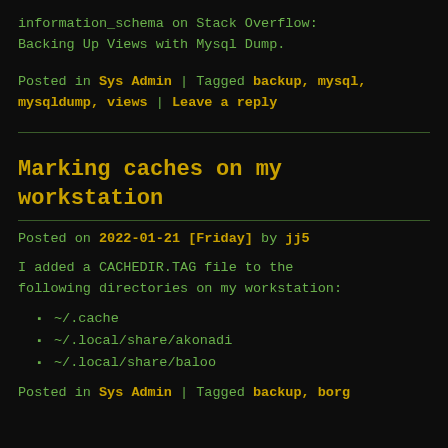information_schema on Stack Overflow: Backing Up Views with Mysql Dump.
Posted in Sys Admin | Tagged backup, mysql, mysqldump, views | Leave a reply
Marking caches on my workstation
Posted on 2022-01-21 [Friday] by jj5
I added a CACHEDIR.TAG file to the following directories on my workstation:
~/.cache
~/.local/share/akonadi
~/.local/share/baloo
Posted in Sys Admin | Tagged backup, borg